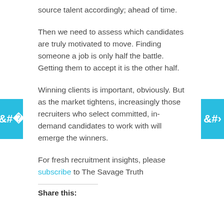source talent accordingly; ahead of time.
Then we need to assess which candidates are truly motivated to move. Finding someone a job is only half the battle. Getting them to accept it is the other half.
Winning clients is important, obviously. But as the market tightens, increasingly those recruiters who select committed, in-demand candidates to work with will emerge the winners.
For fresh recruitment insights, please subscribe to The Savage Truth
Share this: